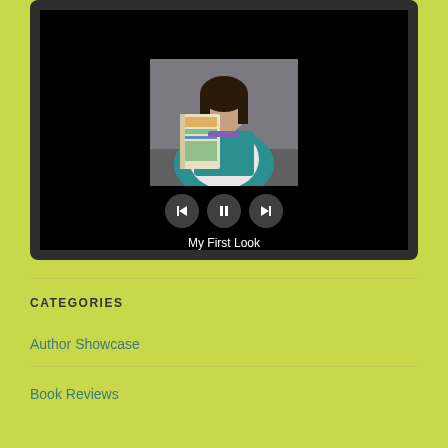[Figure (screenshot): Video player with a woman holding a children's book, showing playback controls (previous, pause, next) and label 'My First Look']
My First Look
CATEGORIES
Author Showcase
Book Reviews